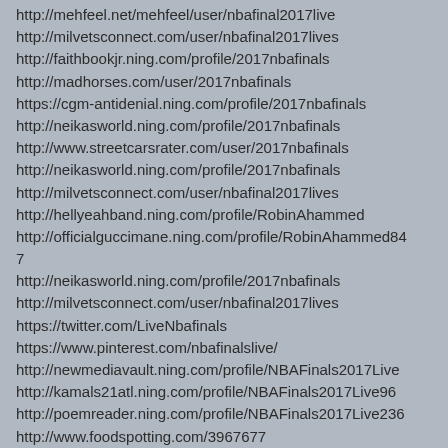http://mehfeel.net/mehfeel/user/nbafinal2017live
http://milvetsconnect.com/user/nbafinal2017lives
http://faithbookjr.ning.com/profile/2017nbafinals
http://madhorses.com/user/2017nbafinals
https://cgm-antidenial.ning.com/profile/2017nbafinals
http://neikasworld.ning.com/profile/2017nbafinals
http://www.streetcarsrater.com/user/2017nbafinals
http://neikasworld.ning.com/profile/2017nbafinals
http://milvetsconnect.com/user/nbafinal2017lives
http://hellyeahband.ning.com/profile/RobinAhammed
http://officialguccimane.ning.com/profile/RobinAhammed847
http://neikasworld.ning.com/profile/2017nbafinals
http://milvetsconnect.com/user/nbafinal2017lives
https://twitter.com/LiveNbafinals
https://www.pinterest.com/nbafinalslive/
http://newmediavault.ning.com/profile/NBAFinals2017Live
http://kamals21atl.ning.com/profile/NBAFinals2017Live96
http://poemreader.ning.com/profile/NBAFinals2017Live236
http://www.foodspotting.com/3967677
http://share.pho.to/user/jefagiter
http://jefagiter.deviantart.com/